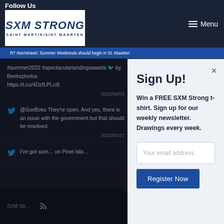Follow Us
[Figure (logo): SXM Strong Saint Martin/Sint Maarten logo in blue on white background]
Menu
RT #sxmtravel: Summer Weekends should begin in St. Maarten #summer2022 #spectacularlandingsawaits by Beeksphotos https://t.co/4DzfLPLci9
2022/08/03
@SueBoks They’re open. And yes, there is an issue with the government but that should be resolved.
2022/05/27
I’ve got som… on Pinel Isla…
SXM Str…
Sign Up!
Win a FREE SXM Strong t-shirt. Sign up for our weekly newsletter. Drawings every week.
Your email address
Register Now